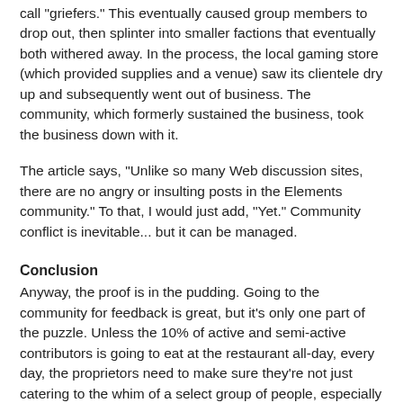call "griefers." This eventually caused group members to drop out, then splinter into smaller factions that eventually both withered away. In the process, the local gaming store (which provided supplies and a venue) saw its clientele dry up and subsequently went out of business. The community, which formerly sustained the business, took the business down with it.
The article says, "Unlike so many Web discussion sites, there are no angry or insulting posts in the Elements community." To that, I would just add, "Yet." Community conflict is inevitable... but it can be managed.
Conclusion
Anyway, the proof is in the pudding. Going to the community for feedback is great, but it's only one part of the puzzle. Unless the 10% of active and semi-active contributors is going to eat at the restaurant all-day, every day, the proprietors need to make sure they're not just catering to the whim of a select group of people, especially if they need to make a broader audience play.